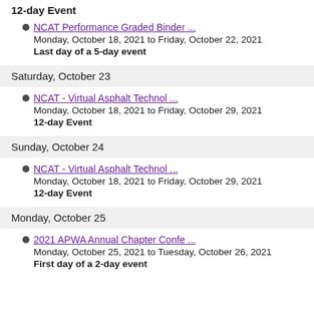12-day Event
NCAT Performance Graded Binder ...
Monday, October 18, 2021 to Friday, October 22, 2021
Last day of a 5-day event
Saturday, October 23
NCAT - Virtual Asphalt Technol ...
Monday, October 18, 2021 to Friday, October 29, 2021
12-day Event
Sunday, October 24
NCAT - Virtual Asphalt Technol ...
Monday, October 18, 2021 to Friday, October 29, 2021
12-day Event
Monday, October 25
2021 APWA Annual Chapter Confe ...
Monday, October 25, 2021 to Tuesday, October 26, 2021
First day of a 2-day event